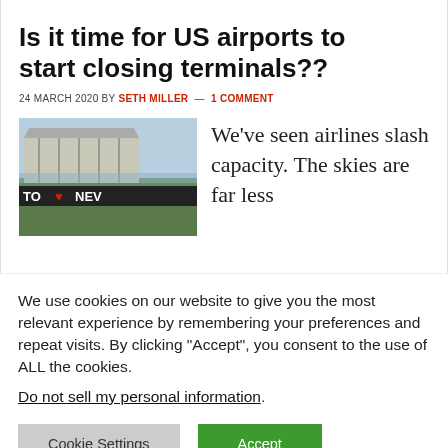Is it time for US airports to start closing terminals??
24 MARCH 2020 BY SETH MILLER — 1 COMMENT
[Figure (photo): Aerial or ground-level photo of an airport terminal or runway area with signage reading 'TO NEW']
We've seen airlines slash capacity. The skies are far less
We use cookies on our website to give you the most relevant experience by remembering your preferences and repeat visits. By clicking "Accept", you consent to the use of ALL the cookies.
Do not sell my personal information.
Cookie Settings    Accept